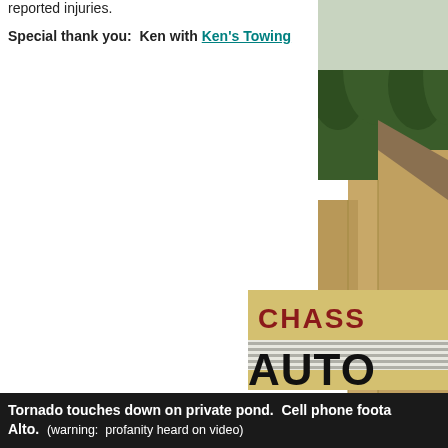reported injuries.
Special thank you:  Ken with Ken's Towing
[Figure (photo): Photo of a metal/steel barn or building structure with trees in the background, tornado damage visible]
A tornado struc
[Figure (photo): Photo of a sign reading CHASS... AUTO... (Chassie's Auto)]
Stop having to buy new tires o
Tornado touches down on private pond.  Cell phone foota Alto.  (warning:  profanity heard on video)